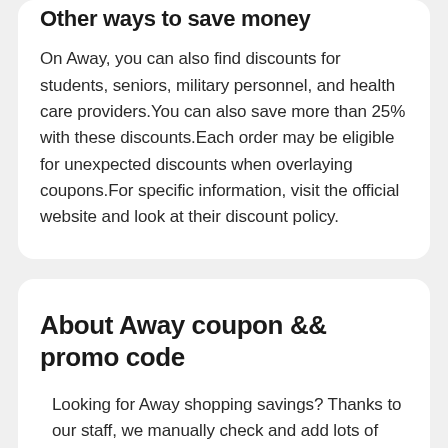Other ways to save money
On Away, you can also find discounts for students, seniors, military personnel, and health care providers.You can also save more than 25% with these discounts.Each order may be eligible for unexpected discounts when overlaying coupons.For specific information, visit the official website and look at their discount policy.
About Away coupon && promo code
Looking for Away shopping savings? Thanks to our staff, we manually check and add lots of discount every day to our